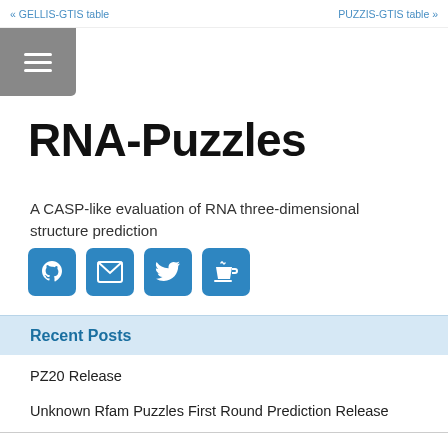« GELLIS-GTIS table   PUZZIS-GTIS table »
RNA-Puzzles
A CASP-like evaluation of RNA three-dimensional structure prediction
[Figure (infographic): Social media icons: GitHub, email, Twitter, coffee/Ko-fi]
Recent Posts
PZ20 Release
Unknown Rfam Puzzles First Round Prediction Release
Unknown Rfam Puzzles First Round Closed
New Domain Name